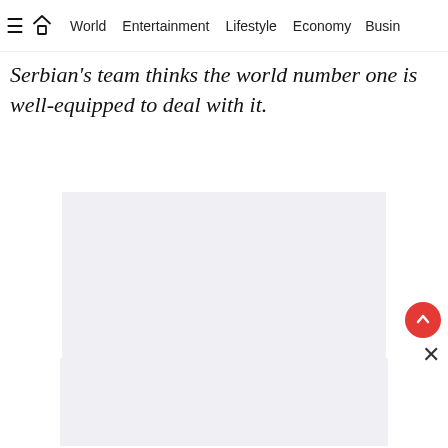≡ 🏠 World  Entertainment  Lifestyle  Economy  Busin
Serbian's team thinks the world number one is well-equipped to deal with it.
[Figure (other): Advertisement placeholder box (light grey rectangle)]
[Figure (other): Advertisement placeholder box at bottom (light grey rectangle)]